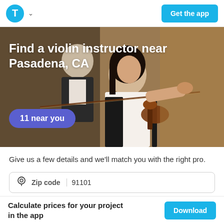[Figure (screenshot): Thumbtack app header with blue T logo and Get the app button]
[Figure (photo): Hero image of a woman playing violin with an instructor behind her, overlaid with text 'Find a violin instructor near Pasadena, CA' and a '11 near you' button]
Find a violin instructor near Pasadena, CA
11 near you
Give us a few details and we'll match you with the right pro.
Zip code  91101
Calculate prices for your project in the app